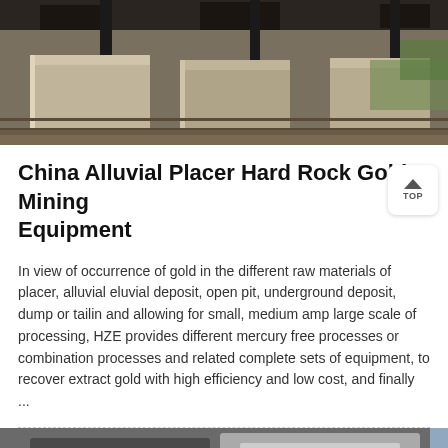[Figure (photo): Industrial mining equipment showing stone/concrete blocks with metal posts and rail lines]
China Alluvial Placer Hard Rock Gold Mining Equipment
In view of occurrence of gold in the different raw materials of placer, alluvial eluvial deposit, open pit, underground deposit, dump or tailings and allowing for small, medium amp large scale of processing, HZE provides different mercury free processes or combination processes and related complete sets of equipment, to recover extract gold with high efficiency and low cost, and finally ...
[Figure (photo): Bottom portion showing industrial equipment, partially visible]